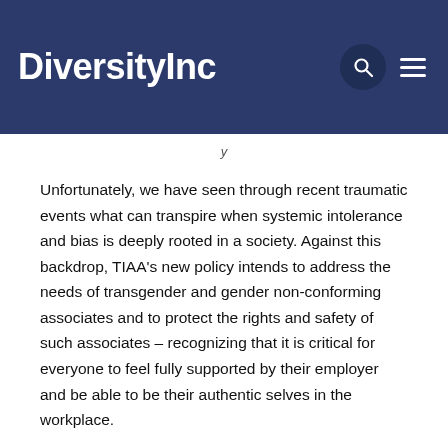DiversityInc
Unfortunately, we have seen through recent traumatic events what can transpire when systemic intolerance and bias is deeply rooted in a society. Against this backdrop, TIAA's new policy intends to address the needs of transgender and gender non-conforming associates and to protect the rights and safety of such associates – recognizing that it is critical for everyone to feel fully supported by their employer and be able to be their authentic selves in the workplace.
Related Content